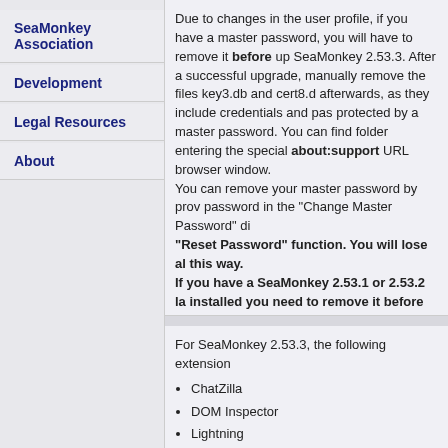SeaMonkey Association
Development
Legal Resources
About
Due to changes in the user profile, if you have a master password, you will have to remove it before upgrading to SeaMonkey 2.53.3. After a successful upgrade, manually remove the files key3.db and cert8.db afterwards, as they include credentials and passwords protected by a master password. You can find the profile folder entering the special about:support URL in a browser window. You can remove your master password by providing the password in the "Change Master Password" dialog, or the "Reset Password" function. You will lose all stored passwords this way. If you have a SeaMonkey 2.53.1 or 2.53.2 language pack installed you need to remove it before upgrading. These language pack versions were marked to work with all Seamonkey 2.53.x releases and cause breakage when a different version. You can then install one of the updated language packs from the download section after installing the base product.
For SeaMonkey 2.53.3, the following extensions are available:
ChatZilla
DOM Inspector
Lightning
Beta versions also contain the following extensions: